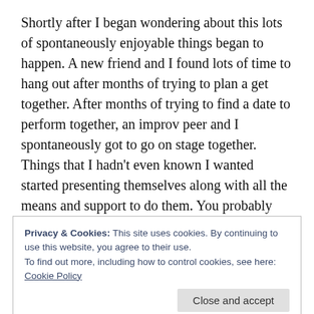Shortly after I began wondering about this lots of spontaneously enjoyable things began to happen. A new friend and I found lots of time to hang out after months of trying to plan a get together. After months of trying to find a date to perform together, an improv peer and I spontaneously got to go on stage together. Things that I hadn't even known I wanted started presenting themselves along with all the means and support to do them. You probably know what it's like to have things spontaneously work out. Deeply satisfying.
Privacy & Cookies: This site uses cookies. By continuing to use this website, you agree to their use.
To find out more, including how to control cookies, see here: Cookie Policy
tell myself that nothing happens in space, that I